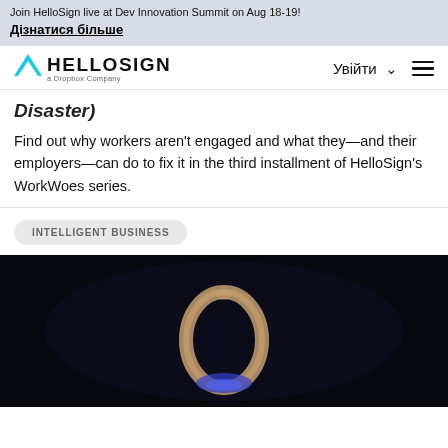Join HelloSign live at Dev Innovation Summit on Aug 18-19!
Дізнатися більше
[Figure (logo): HelloSign a Dropbox Company logo with cyan triangle icon, navigation bar with Увійти and hamburger menu]
Disaster)
Find out why workers aren't engaged and what they—and their employers—can do to fix it in the third installment of HelloSign's WorkWoes series.
INTELLIGENT BUSINESS
[Figure (photo): Dark background image with a glowing abstract ring/loop sculpture with blue and tan/beige colors]